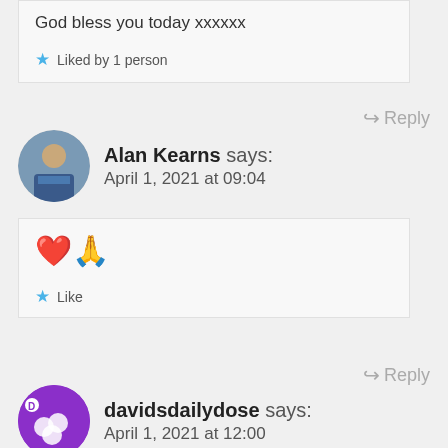God bless you today xxxxxx
★ Liked by 1 person
↪ Reply
Alan Kearns says: April 1, 2021 at 09:04
❤️🙏
★ Like
↪ Reply
davidsdailydose says: April 1, 2021 at 12:00